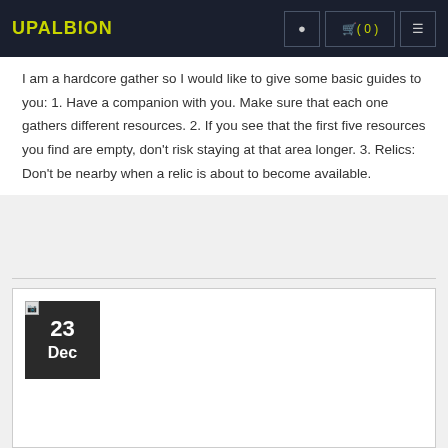UPALBION
I am a hardcore gather so I would like to give some basic guides to you: 1. Have a companion with you. Make sure that each one gathers different resources. 2. If you see that the first five resources you find are empty, don't risk staying at that area longer. 3. Relics: Don't be nearby when a relic is about to become available.
[Figure (other): Card section with a broken image placeholder and a dark date badge showing '23 Dec']